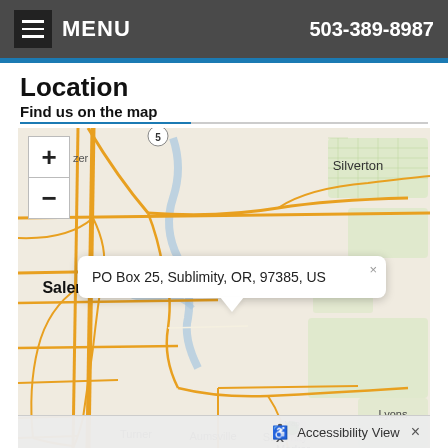MENU  503-389-8987
Location
Find us on the map
[Figure (map): Interactive map centered on Salem/Sublimity area in Oregon, showing road network. A tooltip popup reads 'PO Box 25, Sublimity, OR, 97385, US'. Map labels include Silverton, Salem, Turner, Aumsville, Sublimity, Stayton, Lyons. Map marker visible near Sublimity with label 'Map Marker'. Zoom controls (+/-) visible top-left. Accessibility View bar at bottom.]